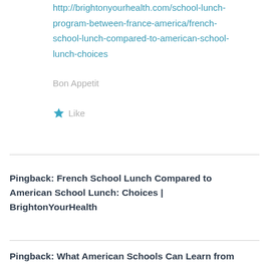http://brightonyourhealth.com/school-lunch-program-between-france-america/french-school-lunch-compared-to-american-school-lunch-choices
Bon Appetit
★ Like
Pingback: French School Lunch Compared to American School Lunch: Choices | BrightonYourHealth
Pingback: What American Schools Can Learn from